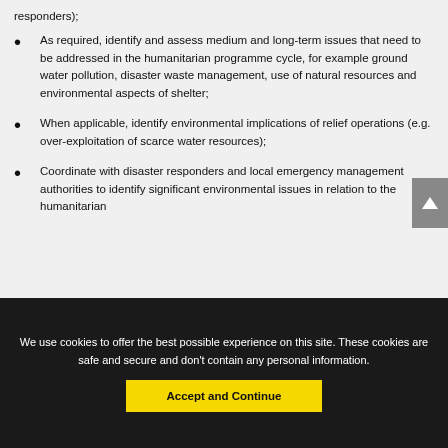responders);
As required, identify and assess medium and long-term issues that need to be addressed in the humanitarian programme cycle, for example ground water pollution, disaster waste management, use of natural resources and environmental aspects of shelter;
When applicable, identify environmental implications of relief operations (e.g. over-exploitation of scarce water resources);
Coordinate with disaster responders and local emergency management authorities to identify significant environmental issues in relation to the humanitarian
We use cookies to offer the best possible experience on this site. These cookies are safe and secure and don't contain any personal information.
Accept and Continue